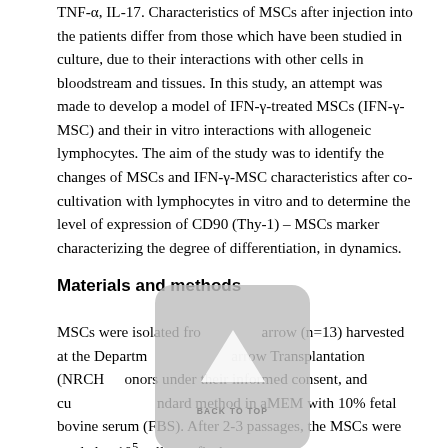TNF-α, IL-17. Characteristics of MSCs after injection into the patients differ from those which have been studied in culture, due to their interactions with other cells in bloodstream and tissues. In this study, an attempt was made to develop a model of IFN-γ-treated MSCs (IFN-γ-MSC) and their in vitro interactions with allogeneic lymphocytes. The aim of the study was to identify the changes of MSCs and IFN-γ-MSC characteristics after co-cultivation with lymphocytes in vitro and to determine the level of expression of CD90 (Thy-1) – MSCs marker characterizing the degree of differentiation, in dynamics.
Materials and methods
MSCs were isolated from [bone marrow] (n=13) harvested at the Department of [Bone Marrow] Transplantation (NRCH), [donors] under their informed consent, and cultured by a standard method in aMEM with 10% fetal bovine serum (FBS). After 2-3 passages, the MSCs were seeded at 105 cells per flask